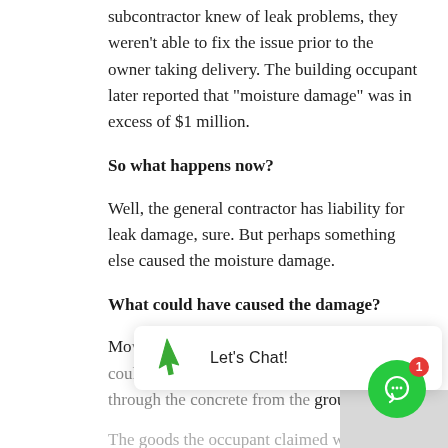subcontractor knew of leak problems, they weren't able to fix the issue prior to the owner taking delivery. The building occupant later reported that "moisture damage" was in excess of $1 million.
So what happens now?
Well, the general contractor has liability for leak damage, sure. But perhaps something else caused the moisture damage.
What could have caused the damage?
Mo... overall humidity and climate in the area. It could also be moisture wicking upward through the concrete from the ground.
The goods the occupant claimed were damaged could
[Figure (screenshot): Chat popup widget with cursor/arrow icon and text 'Let’s Chat!' on white background, with a green circular chat button with red badge showing '1']